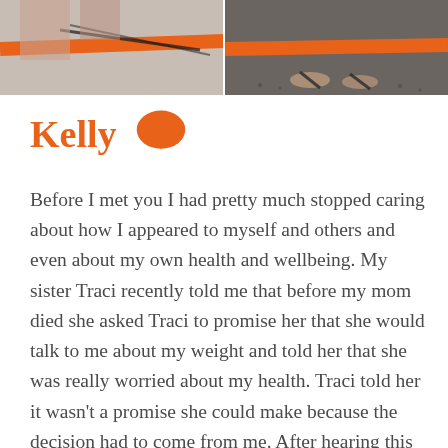[Figure (photo): Two-panel photo strip at the top of the page showing what appears to be people with orange straps or accessories; left panel lighter background, right panel darker background with feet/sandals visible]
Kelly
Before I met you I had pretty much stopped caring about how I appeared to myself and others and even about my own health and wellbeing. My sister Traci recently told me that before my mom died she asked Traci to promise her that she would talk to me about my weight and told her that she was really worried about my health. Traci told her it wasn't a promise she could make because the decision had to come from me. After hearing this and knowing my mom as I did, I think she had been praying for me to make the